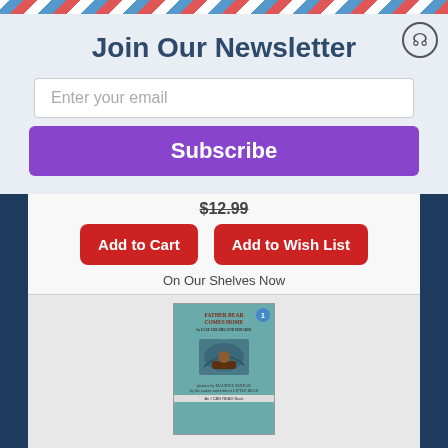Join Our Newsletter
Enter your email
Subscribe
$12.99
Add to Cart
Add to Wish List
On Our Shelves Now
[Figure (photo): Book cover of Father Bear Comes Home (I Can Read Level 1), illustrated by Maurice Sendak, teal/blue cover with bear in a boat]
Father Bear Comes Home (I Can Read Level 1) (Paperback)
By Else Holmelund Minarik, Maurice Sendak (Illustrator)